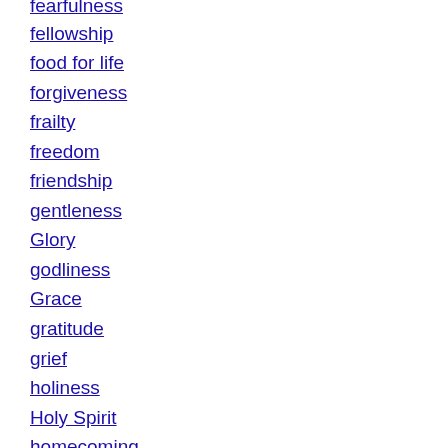fearfulness
fellowship
food for life
forgiveness
frailty
freedom
friendship
gentleness
Glory
godliness
Grace
gratitude
grief
holiness
Holy Spirit
homecoming
honesty
hope
hospitality